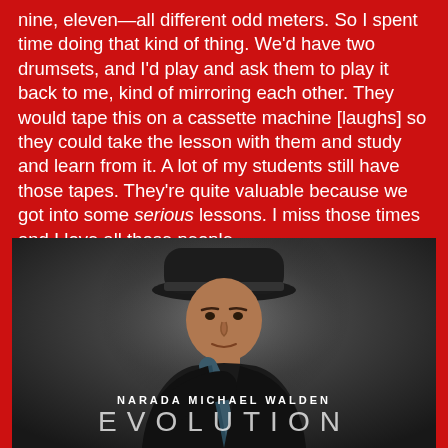nine, eleven—all different odd meters. So I spent time doing that kind of thing. We'd have two drumsets, and I'd play and ask them to play it back to me, kind of mirroring each other. They would tape this on a cassette machine [laughs] so they could take the lesson with them and study and learn from it. A lot of my students still have those tapes. They're quite valuable because we got into some serious lessons. I miss those times and I love all those people.
[Figure (photo): Album cover photo of Narada Michael Walden wearing a black hat and dark jacket, seated and leaning forward against a dark grey gradient background. Text reads 'NARADA MICHAEL WALDEN' above large letters 'EVOLUTION'.]